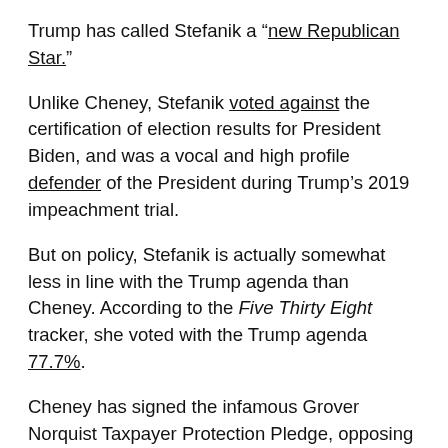Trump has called Stefanik a “new Republican Star.”
Unlike Cheney, Stefanik voted against the certification of election results for President Biden, and was a vocal and high profile defender of the President during Trump’s 2019 impeachment trial.
But on policy, Stefanik is actually somewhat less in line with the Trump agenda than Cheney. According to the Five Thirty Eight tracker, she voted with the Trump agenda 77.7%.
Cheney has signed the infamous Grover Norquist Taxpayer Protection Pledge, opposing all new taxes. It wasn’t too long ago that this was a prerequisite for Republicans with ambitions for higher office. Stefanik has not signed it, and Norquist’s group has publicly